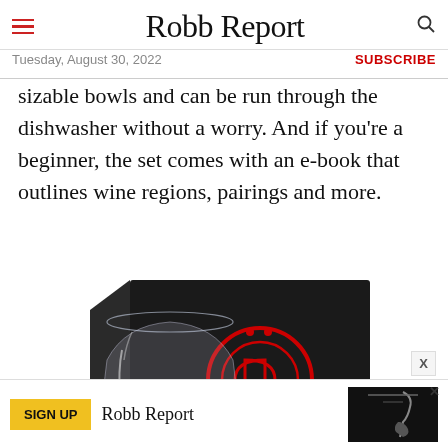Robb Report — Tuesday, August 30, 2022 — SUBSCRIBE
sizable bowls and can be run through the dishwasher without a worry. And if you're a beginner, the set comes with an e-book that outlines wine regions, pairings and more.
[Figure (photo): A wine glass with red wine positioned in front of a dark black product box bearing a red circular logo. The box appears to be packaging for a wine glass set.]
[Figure (infographic): Advertisement banner for Robb Report with a yellow 'SIGN UP' button, the Robb Report logo, and an image of a wine opener/corkscrew tool.]